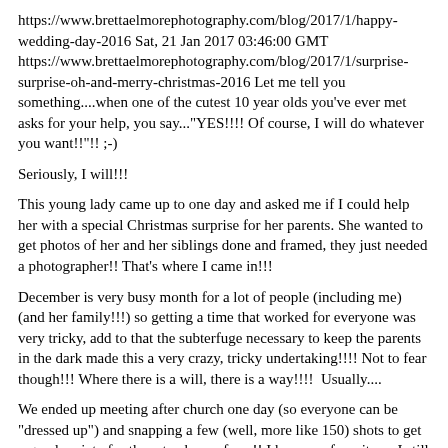https://www.brettaelmorephotography.com/blog/2017/1/happy-wedding-day-2016 Sat, 21 Jan 2017 03:46:00 GMT https://www.brettaelmorephotography.com/blog/2017/1/surprise-surprise-oh-and-merry-christmas-2016 Let me tell you something....when one of the cutest 10 year olds you've ever met asks for your help, you say..."YES!!!! Of course, I will do whatever you want!!"!! ;-)
Seriously, I will!!!
This young lady came up to one day and asked me if I could help her with a special Christmas surprise for her parents. She wanted to get photos of her and her siblings done and framed, they just needed a photographer!! That's where I came in!!!
December is very busy month for a lot of people (including me) (and her family!!!) so getting a time that worked for everyone was very tricky, add to that the subterfuge necessary to keep the parents in the dark made this a very crazy, tricky undertaking!!!! Not to fear though!!! Where there is a will, there is a way!!!!  Usually....
We ended up meeting after church one day (so everyone can be "dressed up") and snapping a few (well, more like 150) shots to get a good variety for them to choose from!! I have my favorites....I still have no idea which ones they chose for their gift to their parents, but I know for a fact that their parents were surprised